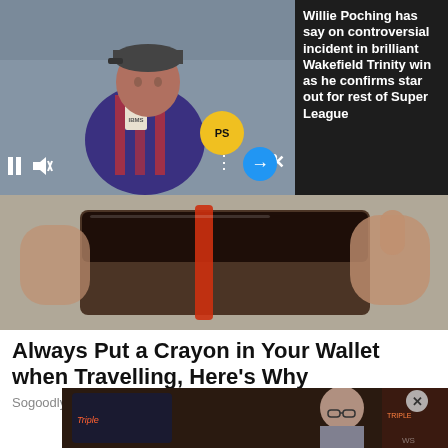[Figure (screenshot): Video player showing rugby player being interviewed with PS microphone, with playback controls (pause, mute), dots menu, and close button]
Top Articles
Willie Poching has say on controversial incident in brilliant Wakefield Trinity win as he confirms star out for rest of Super League
[Figure (photo): Close-up photo of hands opening a leather wallet]
Always Put a Crayon in Your Wallet when Travelling, Here's Why
Sogoodly
[Figure (photo): Partial photo of elderly man near slot machine with Triple display, with X close button]